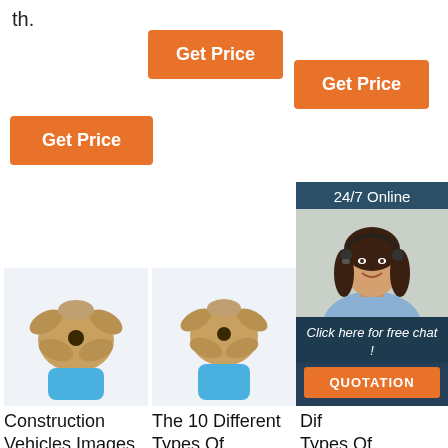th.
[Figure (other): Orange 'Get Price' button (top center)]
[Figure (other): Orange 'Get Price' button (top right)]
[Figure (other): Orange 'Get Price' button (left)]
[Figure (photo): Photo of a drill bit with blue base (left)]
[Figure (photo): Photo of a drill bit with blue base (center)]
[Figure (photo): Partial photo of drill bit (right, partially obscured by chat widget)]
[Figure (other): 24/7 online chat widget with photo of customer service woman and QUOTATION button]
Construction Vehicles Images, Stock Photos & Vectors ...
The 10 Different Types Of Construction Vehicles And Their
Dif Types Of Construction Trucks TOP set, Heavy ...